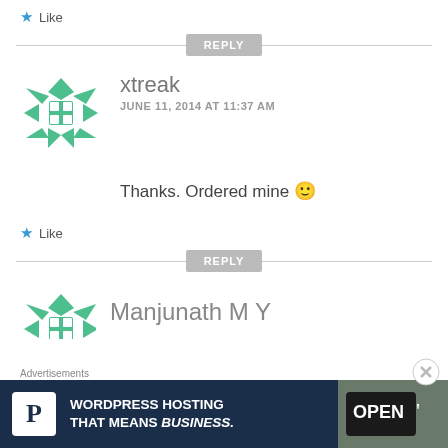★ Like
REPLY
[Figure (logo): Green snowflake/asterisk avatar icon for user xtreak]
xtreak
JUNE 11, 2014 AT 11:37 AM
Thanks. Ordered mine 🙂
★ Like
REPLY
[Figure (logo): Green snowflake/asterisk avatar icon for user Manjunath M Y (partially visible)]
Manjunath M Y
Advertisements
[Figure (screenshot): WordPress Hosting advertisement banner: dark navy background with white P icon, text WORDPRESS HOSTING THAT MEANS BUSINESS. and an OPEN sign photo on the right]